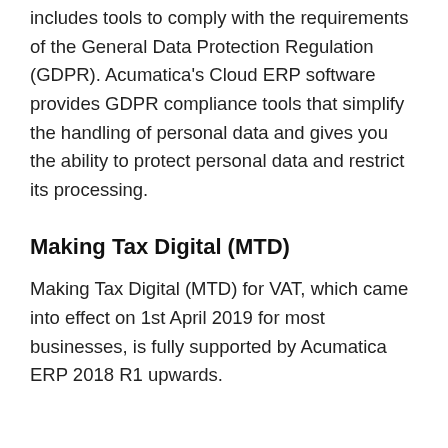includes tools to comply with the requirements of the General Data Protection Regulation (GDPR). Acumatica's Cloud ERP software provides GDPR compliance tools that simplify the handling of personal data and gives you the ability to protect personal data and restrict its processing.
Making Tax Digital (MTD)
Making Tax Digital (MTD) for VAT, which came into effect on 1st April 2019 for most businesses, is fully supported by Acumatica ERP 2018 R1 upwards.